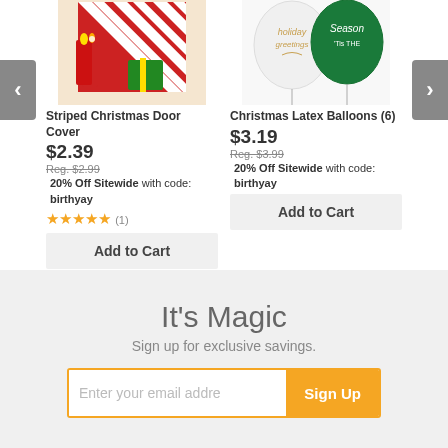[Figure (photo): Striped Christmas door cover product image — red candles and candy-striped gift boxes]
Striped Christmas Door Cover
$2.39
Reg. $2.99
20% Off Sitewide with code: birthyay
★★★★★ (1)
Add to Cart
[Figure (photo): Christmas Latex Balloons product image — white and green balloons with holiday text]
Christmas Latex Balloons (6)
$3.19
Reg. $3.99
20% Off Sitewide with code: birthyay
Add to Cart
It's Magic
Sign up for exclusive savings.
Enter your email address / Sign Up